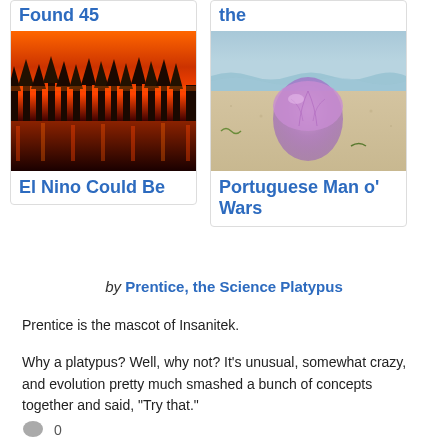Found 45
the
[Figure (photo): Forest fire with burning trees reflected in water, orange and red flames]
[Figure (photo): Portuguese Man o' War jellyfish on sand beach]
El Nino Could Be
Portuguese Man o' Wars
by Prentice, the Science Platypus
Prentice is the mascot of Insanitek.
Why a platypus? Well, why not? It's unusual, somewhat crazy, and evolution pretty much smashed a bunch of concepts together and said, "Try that."
0